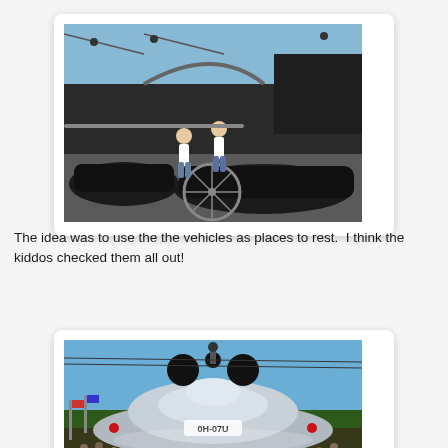[Figure (photo): Outdoor scene showing two people standing near dark-colored custom cars (possibly Batmobile-style vehicles) and a bicycle with large wheels, with bleachers and structures visible in the background under a blue sky.]
The idea was to use the the vehicles as places to rest.  I think the kiddos checked them all out!
[Figure (photo): A futuristic flying saucer/UFO-shaped vehicle or prop with Mickey Mouse ears on top, shown at what appears to be an outdoor event or fair with crowds and flags visible in the background.]